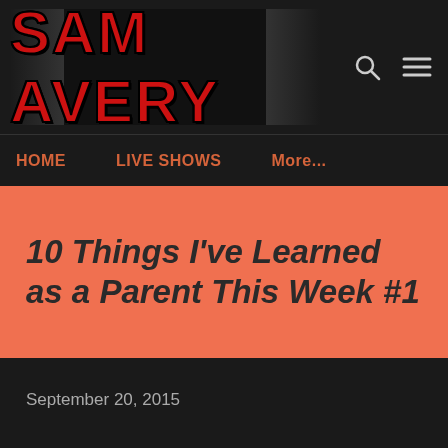[Figure (logo): Sam Avery logo banner with red bold text on dark background, with images of a person on each side]
HOME    LIVE SHOWS    More...
10 Things I've Learned as a Parent This Week #1
September 20, 2015